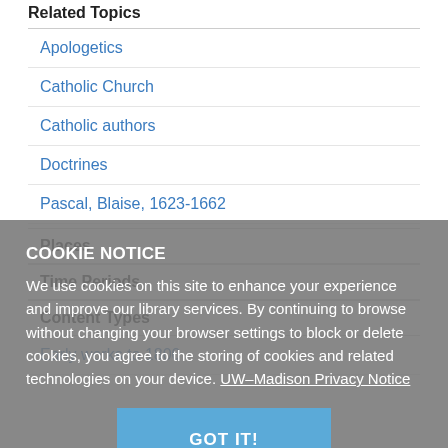Related Topics
Apologetics
Catholic Church
Catholic authors
Doctrines
Pascal, Blaise, 1623-1662
Places
Time Periods
Content Types
Early works to 1800
COOKIE NOTICE
We use cookies on this site to enhance your experience and improve our library services. By continuing to browse without changing your browser settings to block or delete cookies, you agree to the storing of cookies and related technologies on your device. UW–Madison Privacy Notice
GOT IT!